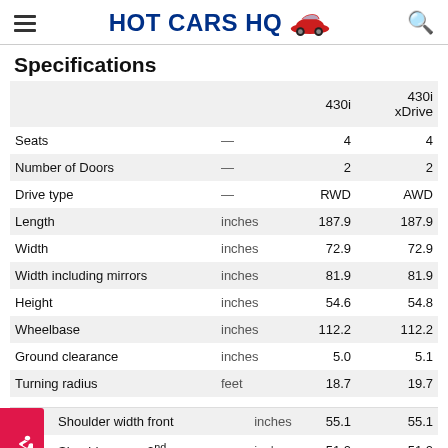HOT CARS HQ
Specifications
|  |  | 430i | 430i xDrive |
| --- | --- | --- | --- |
| Seats | — | 4 | 4 |
| Number of Doors | — | 2 | 2 |
| Drive type | — | RWD | AWD |
| Length | inches | 187.9 | 187.9 |
| Width | inches | 72.9 | 72.9 |
| Width including mirrors | inches | 81.9 | 81.9 |
| Height | inches | 54.6 | 54.8 |
| Wheelbase | inches | 112.2 | 112.2 |
| Ground clearance | inches | 5.0 | 5.1 |
| Turning radius | feet | 18.7 | 19.7 |
| Shoulder width front | inches | 55.1 | 55.1 |
| Shoulder room 2nd row | inches | 51.0 | 51.0 |